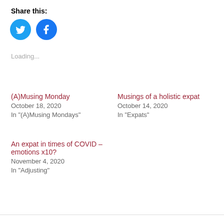Share this:
[Figure (illustration): Two circular social media share buttons: Twitter (blue bird icon) and Facebook (blue F icon)]
Loading...
(A)Musing Monday
October 18, 2020
In "(A)Musing Mondays"
Musings of a holistic expat
October 14, 2020
In "Expats"
An expat in times of COVID – emotions x10?
November 4, 2020
In "Adjusting"